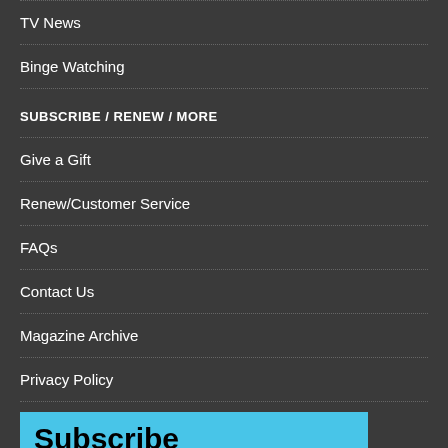TV News
Binge Watching
SUBSCRIBE / RENEW / MORE
Give a Gift
Renew/Customer Service
FAQs
Contact Us
Magazine Archive
Privacy Policy
[Figure (other): Subscribe banner with cyan/light-blue background]
This website stores data such as cookies to enable essential site functionality, as well as marketing, personalization, and analytics. By remaining on this website you indicate your consent. Privacy Policy